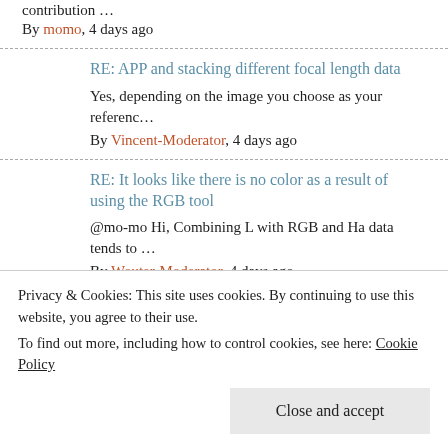contribution … By momo, 4 days ago
RE: APP and stacking different focal length data
Yes, depending on the image you choose as your referenc…
By Vincent-Moderator, 4 days ago
RE: It looks like there is no color as a result of using the RGB tool
@mo-mo Hi, Combining L with RGB and Ha data tends to …
By Wouter-Moderator, 4 days ago
RE: Combine RGB Issue
@wvreeven Thanks for the quick response
Privacy & Cookies: This site uses cookies. By continuing to use this website, you agree to their use.
To find out more, including how to control cookies, see here: Cookie Policy
Close and accept